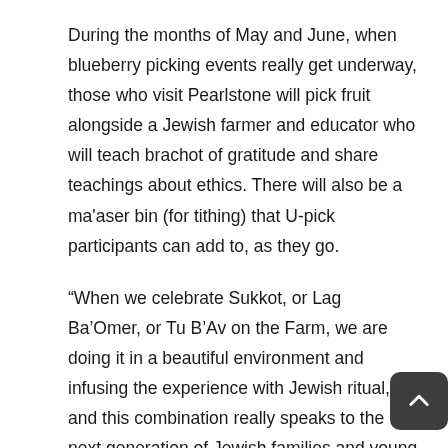During the months of May and June, when blueberry picking events really get underway, those who visit Pearlstone will pick fruit alongside a Jewish farmer and educator who will teach brachot of gratitude and share teachings about ethics. There will also be a ma'aser bin (for tithing) that U-pick participants can add to, as they go.
“When we celebrate Sukkot, or Lag Ba’Omer, or Tu B’Av on the Farm, we are doing it in a beautiful environment and infusing the experience with Jewish ritual, and this combination really speaks to the next generation of Jewish families and young adults that are seeking an inclusive and immersive experience,” Manela says.